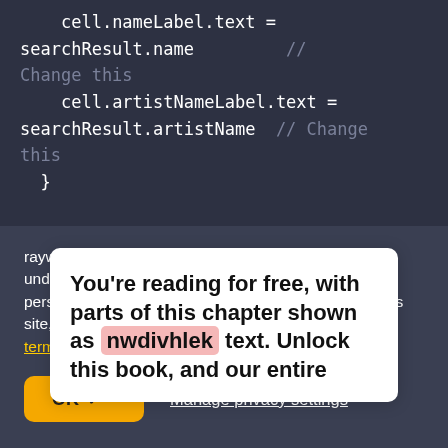[Figure (screenshot): Code editor screenshot showing Swift code with cell.nameLabel.text = searchResult.name and cell.artistNameLabel.text = searchResult.artistName with comments 'Change this']
You're reading for free, with parts of this chapter shown as nwdivhlek text. Unlock this book, and our entire
raywenderlich.com and our partners use cookies to understand how you use our site and to serve you personalized content and ads. By continuing to use this site, you accept these cookies, our privacy policy and terms of service.
OK ✓
Manage privacy settings